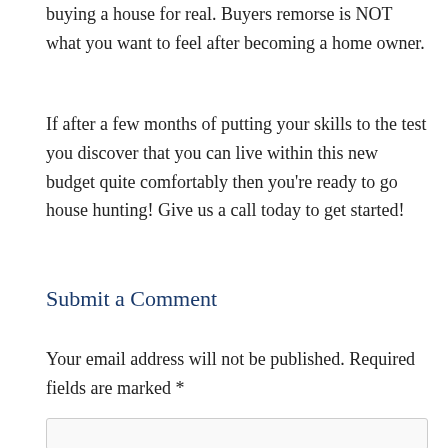buying a house for real. Buyers remorse is NOT what you want to feel after becoming a home owner.
If after a few months of putting your skills to the test you discover that you can live within this new budget quite comfortably then you're ready to go house hunting! Give us a call today to get started!
Submit a Comment
Your email address will not be published. Required fields are marked *